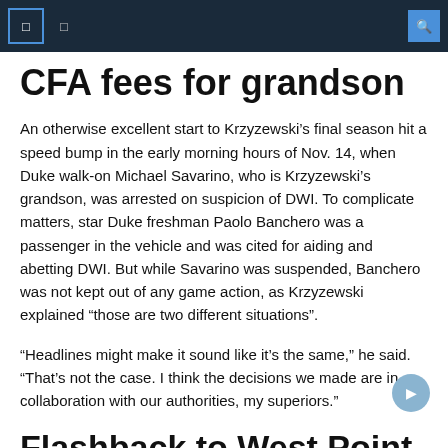[ ] [ ]  [search icon]
CFA fees for grandson
An otherwise excellent start to Krzyzewski's final season hit a speed bump in the early morning hours of Nov. 14, when Duke walk-on Michael Savarino, who is Krzyzewski's grandson, was arrested on suspicion of DWI. To complicate matters, star Duke freshman Paolo Banchero was a passenger in the vehicle and was cited for aiding and abetting DWI. But while Savarino was suspended, Banchero was not kept out of any game action, as Krzyzewski explained “those are two different situations”.
“Headlines might make it sound like it’s the same,” he said. “That’s not the case. I think the decisions we made are in collaboration with our authorities, my superiors.”
Flashback to West Point